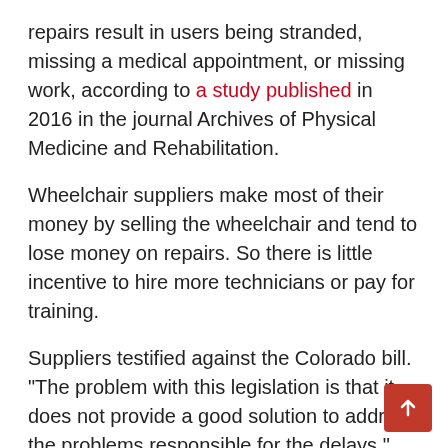repairs result in users being stranded, missing a medical appointment, or missing work, according to a study published in 2016 in the journal Archives of Physical Medicine and Rehabilitation.
Wheelchair suppliers make most of their money by selling the wheelchair and tend to lose money on repairs. So there is little incentive to hire more technicians or pay for training.
Suppliers testified against the Colorado bill. "The problem with this legislation is that it does not provide a good solution to address the problems responsible for the delays," said Seth Johnson, senior vice president of government affairs for Pride Mobility Products, a Duryea, Pennsylvania-based supplier of power wheelchairs. If repairs are done incorrectly, he said, patient safety could be jeopardized.
Medicare regulations add to the problems, with low